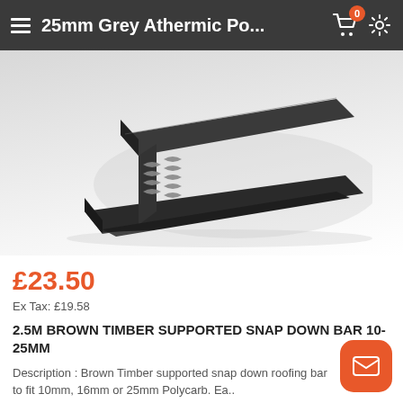25mm Grey Athermic Po...
[Figure (photo): Close-up photo of a dark brown/grey aluminium or plastic snap down roofing bar profile, showing cross-section with ribbed/corrugated gaskets, viewed at an angle on a light grey/white background.]
£23.50
Ex Tax: £19.58
2.5M BROWN TIMBER SUPPORTED SNAP DOWN BAR 10-25MM
Description : Brown Timber supported snap down roofing bar to fit 10mm, 16mm or 25mm Polycarb. Ea..